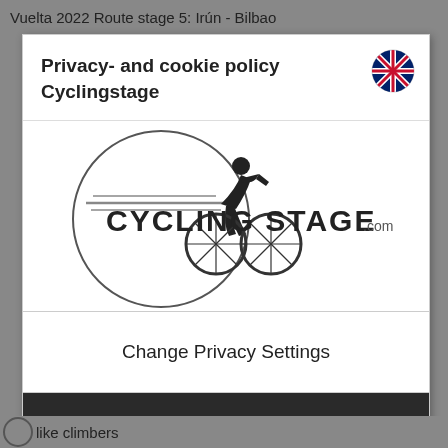Vuelta 2022 Route stage 5: Irún - Bilbao
Privacy- and cookie policy
Cyclingstage
[Figure (logo): Cycling Stage .com logo with a cyclist silhouette inside a circle and horizontal speed lines]
Change Privacy Settings
I accept the privacy settings
like climbers